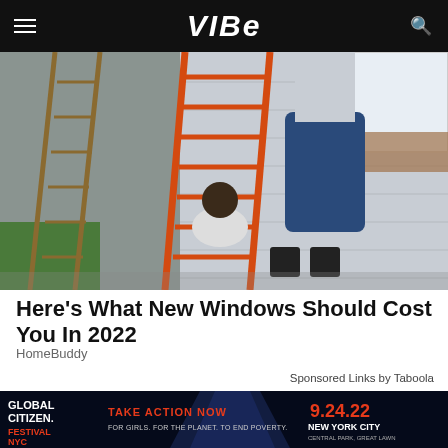VIBE
[Figure (photo): Two people working on the exterior of a house near orange ladders. A person is crouching near the base of a large orange ladder while another person stands higher up. The house has grey siding.]
Here's What New Windows Should Cost You In 2022
HomeBuddy
Sponsored Links by Taboola
ADVERTISEMENT
[Figure (photo): Global Citizen advertisement: TAKE ACTION NOW FOR GIRLS. FOR THE PLANET. TO END POVERTY. with a close (X) button.]
[Figure (photo): Global Citizen Festival NYC advertisement: TAKE ACTION NOW 9.24.22 NEW YORK CITY CENTRAL PARK, GREAT LAWN. FOR GIRLS. FOR THE PLANET. TO END POVERTY.]